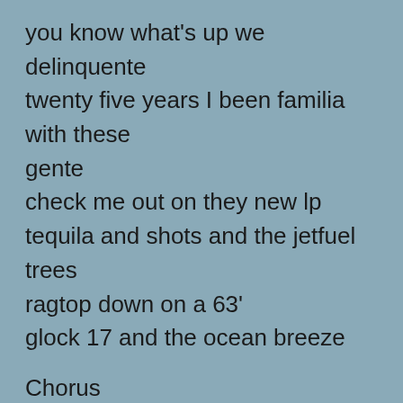you know what's up we delinquente
twenty five years I been familia with these gente
check me out on they new lp
tequila and shots and the jetfuel trees
ragtop down on a 63'
glock 17 and the ocean breeze
Chorus
days is hot night get hotter
fathers better watch your daughters
days get longer nights get shorter
remember the police got quotas
city of angels